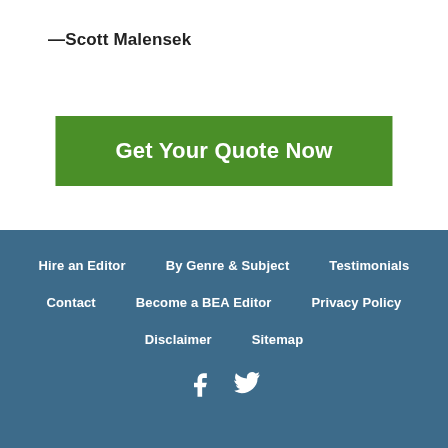—Scott Malensek
Get Your Quote Now
Hire an Editor  By Genre & Subject  Testimonials  Contact  Become a BEA Editor  Privacy Policy  Disclaimer  Sitemap